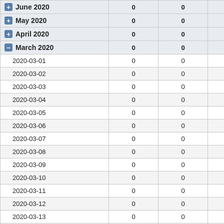| Date | Col1 | Col2 | Col3 |
| --- | --- | --- | --- |
| June 2020 | 0 | 0 | 0 |
| May 2020 | 0 | 0 | 0 |
| April 2020 | 0 | 0 | 0 |
| March 2020 | 0 | 0 | 0 |
| 2020-03-01 | 0 | 0 | 0 |
| 2020-03-02 | 0 | 0 | 0 |
| 2020-03-03 | 0 | 0 | 0 |
| 2020-03-04 | 0 | 0 | 0 |
| 2020-03-05 | 0 | 0 | 0 |
| 2020-03-06 | 0 | 0 | 0 |
| 2020-03-07 | 0 | 0 | 0 |
| 2020-03-08 | 0 | 0 | 0 |
| 2020-03-09 | 0 | 0 | 0 |
| 2020-03-10 | 0 | 0 | 0 |
| 2020-03-11 | 0 | 0 | 0 |
| 2020-03-12 | 0 | 0 | 0 |
| 2020-03-13 | 0 | 0 | 0 |
| 2020-03-14 | 0 | 0 | 0 |
| 2020-03-15 | 0 | 0 | 0 |